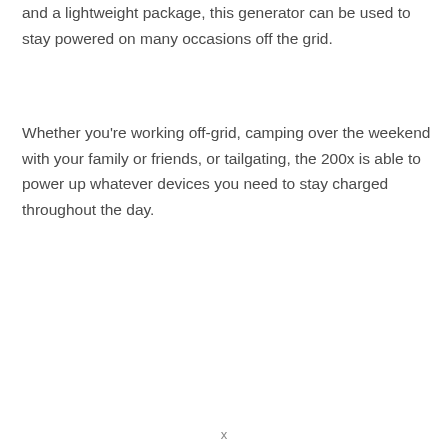and a lightweight package, this generator can be used to stay powered on many occasions off the grid.
Whether you're working off-grid, camping over the weekend with your family or friends, or tailgating, the 200x is able to power up whatever devices you need to stay charged throughout the day.
x